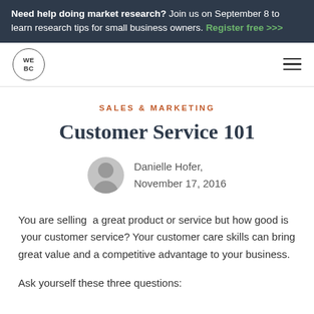Need help doing market research? Join us on September 8 to learn research tips for small business owners. Register free >>>
[Figure (logo): WEBC circular logo]
SALES & MARKETING
Customer Service 101
Danielle Hofer, November 17, 2016
You are selling a great product or service but how good is your customer service? Your customer care skills can bring great value and a competitive advantage to your business.
Ask yourself these three questions: